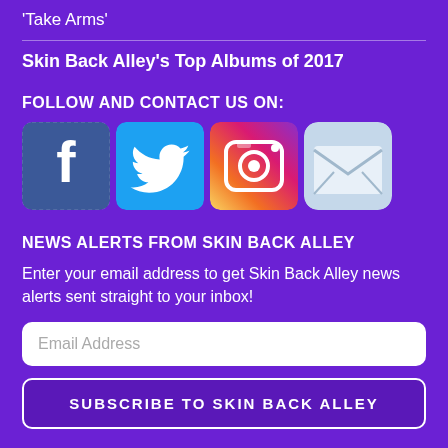'Take Arms'
Skin Back Alley's Top Albums of 2017
FOLLOW AND CONTACT US ON:
[Figure (infographic): Social media icons: Facebook, Twitter, Instagram, Email]
NEWS ALERTS FROM SKIN BACK ALLEY
Enter your email address to get Skin Back Alley news alerts sent straight to your inbox!
Email Address
SUBSCRIBE TO SKIN BACK ALLEY